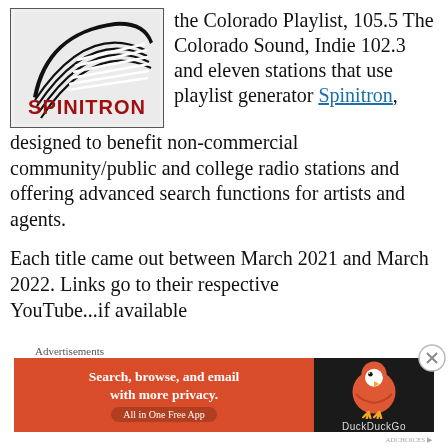[Figure (logo): Spinitron logo: black arc/vinyl record graphic above bold red SPINITRON text on grey background]
the Colorado Playlist, 105.5 The Colorado Sound, Indie 102.3 and eleven stations that use playlist generator Spinitron,
designed to benefit non-commercial community/public and college radio stations and offering advanced search functions for artists and agents.
Each title came out between March 2021 and March 2022. Links go to their respective YouTube...if available
Advertisements
[Figure (screenshot): DuckDuckGo advertisement banner: orange left side with 'Search, browse, and email with more privacy. All in One Free App' text, dark right side with DuckDuckGo duck logo]